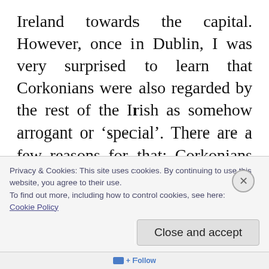Ireland towards the capital. However, once in Dublin, I was very surprised to learn that Corkonians were also regarded by the rest of the Irish as somehow arrogant or ‘special’. There are a few reasons for that: Corkonians are very proud to belong to the ‘Rebel County’. Their GAA teams are cheered with ‘Up the Rebels!’ and they consider themselves ‘The True Capital of Ireland’. Obviously, this rivalry,
Privacy & Cookies: This site uses cookies. By continuing to use this website, you agree to their use.
To find out more, including how to control cookies, see here:
Cookie Policy
Close and accept